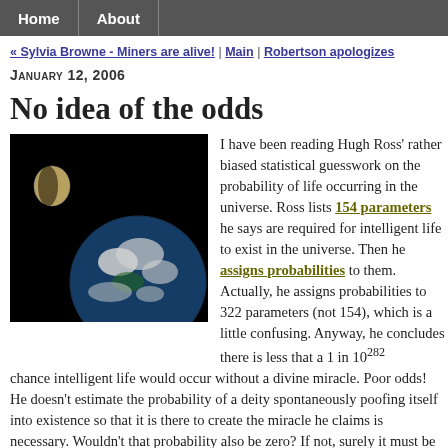Home | About
« Sylvia Browne - Miners are alive! | Main | Robertson apologizes
January 12, 2006
No idea of the odds
[Figure (photo): Photo of Earth and Moon from space against black background]
I have been reading Hugh Ross' rather biased statistical guesswork on the probability of life occurring in the universe. Ross lists 154 parameters he says are required for intelligent life to exist in the universe. Then he assigns probabilities to them. Actually, he assigns probabilities to 322 parameters (not 154), which is a little confusing. Anyway, he concludes there is less that a 1 in 10^282 chance intelligent life would occur without a divine miracle. Poor odds! He doesn't estimate the probability of a deity spontaneously poofing itself into existence so that it is there to create the miracle he claims is necessary. Wouldn't that probability also be zero? If not, surely it must be turtles all the way down?
Ignoring that, where to start with Ross' figures? The first obvious comment is that he doesn't (as far as I can tell) say how he arrives at the probabilities of any of the 322 parameters. Probabilities that range from 0.00001 to 1. It doesn't...